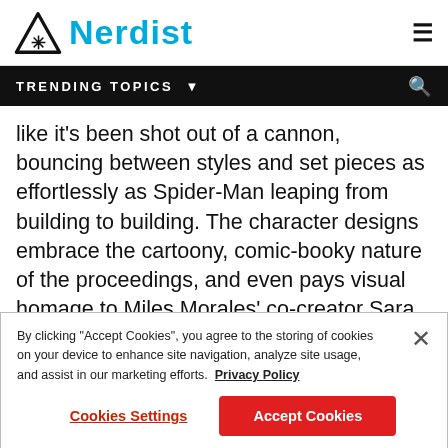Nerdist
TRENDING TOPICS
like it's been shot out of a cannon, bouncing between styles and set pieces as effortlessly as Spider-Man leaping from building to building. The character designs embrace the cartoony, comic-booky nature of the proceedings, and even pays visual homage to Miles Morales' co-creator Sara Pichelli. It's one of the most vibrant, beautiful pieces of visual art ever put to celluloid.
By clicking "Accept Cookies", you agree to the storing of cookies on your device to enhance site navigation, analyze site usage, and assist in our marketing efforts.  Privacy Policy
Cookies Settings  Accept Cookies